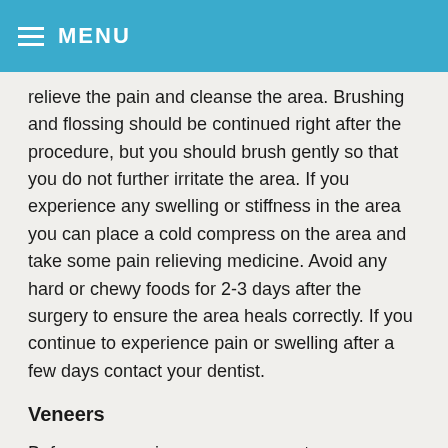MENU
relieve the pain and cleanse the area. Brushing and flossing should be continued right after the procedure, but you should brush gently so that you do not further irritate the area. If you experience any swelling or stiffness in the area you can place a cold compress on the area and take some pain relieving medicine. Avoid any hard or chewy foods for 2-3 days after the surgery to ensure the area heals correctly. If you continue to experience pain or swelling after a few days contact your dentist.
Veneers
Before you receive your permanent veneer you will first receive a temporary restoration. This is not as sturdy as the permanent version, so you should be careful when cleaning and eating. You should brush the area gently and should not